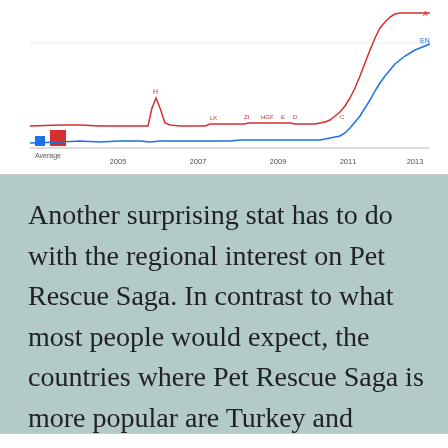[Figure (continuous-plot): Google Trends line chart showing search interest over time from 2005 to 2013. Two lines: red line (Pet Rescue Saga related) and blue line, both starting low with some spikes labeled H, LK, ZI, HGF, E, D, C, then both sharply rising at the end (2012-2013) with labels A and EN at peak. X-axis shows years: Average, 2005, 2007, 2009, 2011, 2013.]
Another surprising stat has to do with the regional interest on Pet Rescue Saga. In contrast to what most people would expect, the countries where Pet Rescue Saga is more popular are Turkey and Argentina! The image below shows the regional interest on the game.